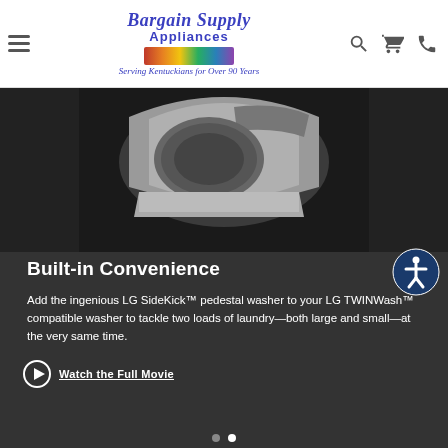Bargain Supply Appliances — Serving Kentuckians for Over 90 Years
[Figure (photo): LG SideKick pedestal washer product photo on dark background]
Built-in Convenience
Add the ingenious LG SideKick™ pedestal washer to your LG TWINWash™ compatible washer to tackle two loads of laundry—both large and small—at the very same time.
Watch the Full Movie